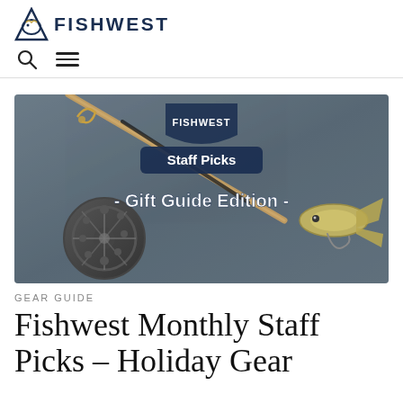FISHWEST
[Figure (photo): Fishwest Staff Picks - Gift Guide Edition banner image showing fly fishing reel, fishing rod, lures and tackle arranged on a gray surface with overlaid text]
GEAR GUIDE
Fishwest Monthly Staff Picks – Holiday Gear